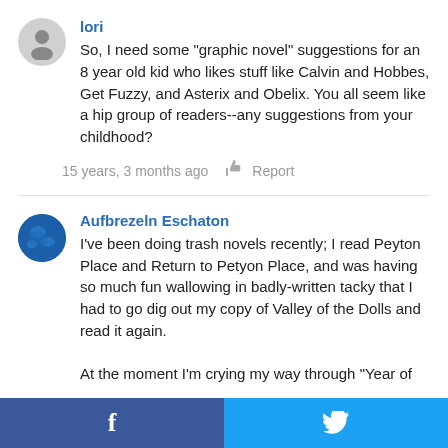lori
So, I need some "graphic novel" suggestions for an 8 year old kid who likes stuff like Calvin and Hobbes, Get Fuzzy, and Asterix and Obelix. You all seem like a hip group of readers--any suggestions from your childhood?
15 years, 3 months ago  Report
Aufbrezeln Eschaton
I've been doing trash novels recently; I read Peyton Place and Return to Petyon Place, and was having so much fun wallowing in badly-written tacky that I had to go dig out my copy of Valley of the Dolls and read it again.

At the moment I'm crying my way through "Year of